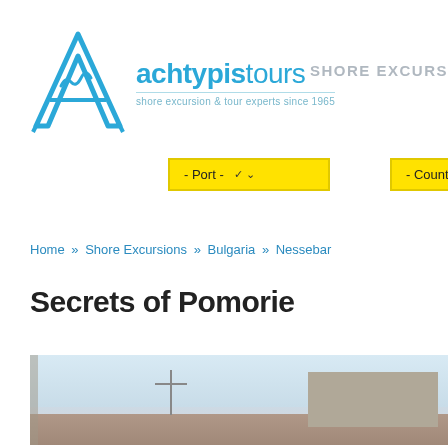[Figure (logo): Achtypis Tours logo — stylized letter A in cyan outline with wave motif, beside the brand name 'achtypistours' in cyan and the tagline 'shore excursion & tour experts since 1965']
SHORE EXCURS
[Figure (other): Yellow dropdown selector labeled '- Port -' with down arrow]
[Figure (other): Yellow dropdown selector labeled '- Country -' with down arrow (partially visible)]
Home » Shore Excursions » Bulgaria » Nessebar
Secrets of Pomorie
[Figure (photo): Partial photograph showing coastal city skyline of Pomorie, Bulgaria, with light blue sky, an antenna/pole in the mid-ground, and rooftops of buildings on the right side]